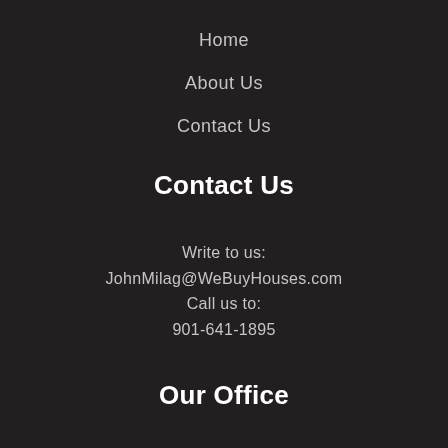Home
About Us
Contact Us
Contact Us
Write to us:
JohnMilag@WeBuyHouses.com
Call us to:
901-641-1895
Our Office